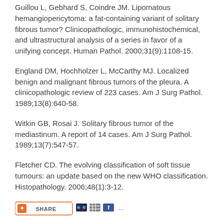Guillou L, Gebhard S, Coindre JM. Lipomatous hemangiopericytoma: a fat-containing variant of solitary fibrous tumor? Clinicopathologic, immunohistochemical, and ultrastructural analysis of a series in favor of a unifying concept. Human Pathol. 2000;31(9):1108-15.
England DM, Hochholzer L, McCarthy MJ. Localized benign and malignant fibrous tumors of the pleura. A clinicopathologic review of 223 cases. Am J Surg Pathol. 1989;13(8):640-58.
Witkin GB, Rosai J. Solitary fibrous tumor of the mediastinum. A report of 14 cases. Am J Surg Pathol. 1989;13(7):547-57.
Fletcher CD. The evolving classification of soft tissue tumours: an update based on the new WHO classification. Histopathology. 2006;48(1):3-12.
[Figure (other): Share button bar with social media icons including a red cross/plus share button, dark icons, and Facebook icon with ellipsis]